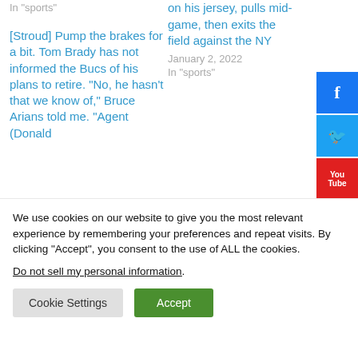In "sports"
on his jersey, pulls mid-game, then exits the field against the NY
January 2, 2022
In "sports"
[Stroud] Pump the brakes for a bit. Tom Brady has not informed the Bucs of his plans to retire. “No, he hasn’t that we know of,” Bruce Arians told me. “Agent (Donald
We use cookies on our website to give you the most relevant experience by remembering your preferences and repeat visits. By clicking “Accept”, you consent to the use of ALL the cookies.
Do not sell my personal information.
Cookie Settings
Accept